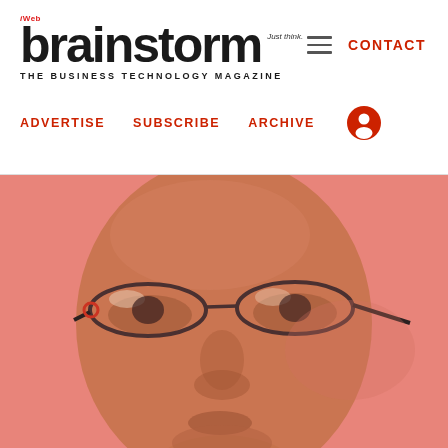iWeb brainstorm Just think. THE BUSINESS TECHNOLOGY MAGAZINE | CONTACT | ADVERTISE | SUBSCRIBE | ARCHIVE
[Figure (photo): Close-up photo of a man wearing glasses against a red/pink background, shown from forehead to chin, large format hero image]